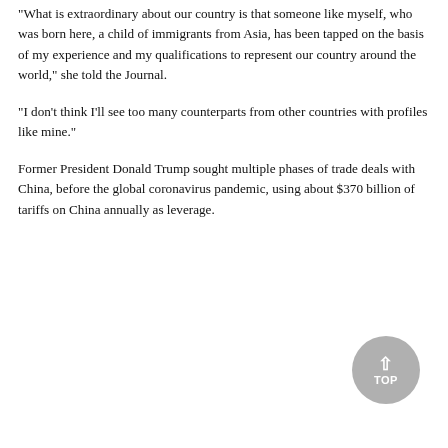"What is extraordinary about our country is that someone like myself, who was born here, a child of immigrants from Asia, has been tapped on the basis of my experience and my qualifications to represent our country around the world," she told the Journal.
"I don't think I'll see too many counterparts from other countries with profiles like mine."
Former President Donald Trump sought multiple phases of trade deals with China, before the global coronavirus pandemic, using about $370 billion of tariffs on China annually as leverage.